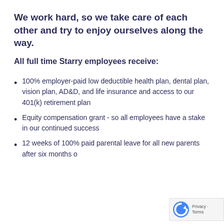We work hard, so we take care of each other and try to enjoy ourselves along the way.
All full time Starry employees receive:
100% employer-paid low deductible health plan, dental plan, vision plan, AD&D, and life insurance and access to our 401(k) retirement plan
Equity compensation grant - so all employees have a stake in our continued success
12 weeks of 100% paid parental leave for all new parents after six months o